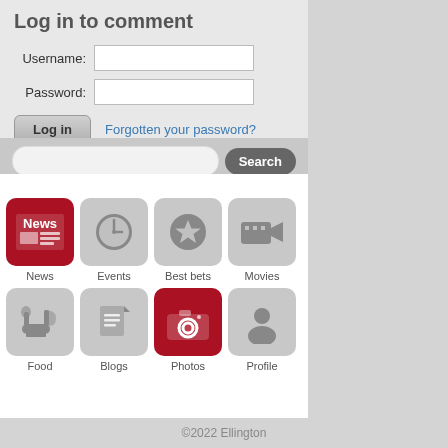Log in to comment
Username:
Password:
Log in
Forgotten your password?
Search
[Figure (infographic): 8 app icons in a 4x2 grid: News (red background with newspaper icon), Events (clock icon), Best bets (star icon), Movies (movie camera icon), Food (food/drink icon), Blogs (document icon), Photos (red background with camera icon), Profile (person silhouette icon)]
©2022 Ellington